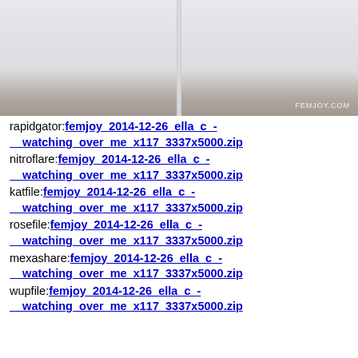[Figure (photo): Partial photo of a person in white clothing/fabric against a gray surface, with FEMJOY.COM watermark in bottom right corner.]
rapidgator:femjoy_2014-12-26_ella_c_-_watching_over_me_x117_3337x5000.zip
nitroflare:femjoy_2014-12-26_ella_c_-_watching_over_me_x117_3337x5000.zip
katfile:femjoy_2014-12-26_ella_c_-_watching_over_me_x117_3337x5000.zip
rosefile:femjoy_2014-12-26_ella_c_-_watching_over_me_x117_3337x5000.zip
mexashare:femjoy_2014-12-26_ella_c_-_watching_over_me_x117_3337x5000.zip
wupfile:femjoy_2014-12-26_ella_c_-_watching_over_me_x117_3337x5000.zip